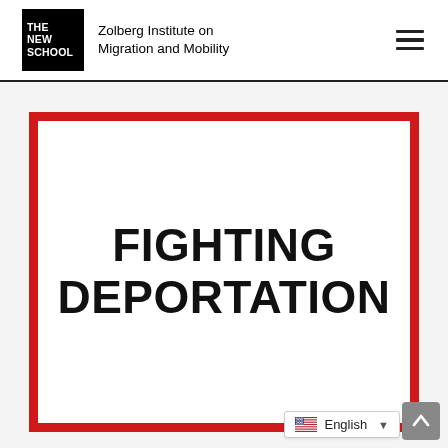The New School | Zolberg Institute on Migration and Mobility
[Figure (other): Red-bordered white box containing large uppercase text 'FIGHTING DEPORTATION']
FIGHTING DEPORTATION
English